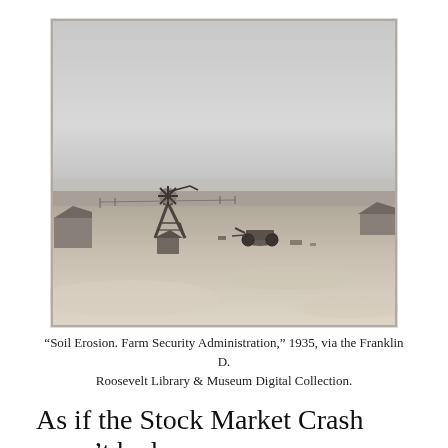[Figure (photo): Black and white historical photograph of a dust bowl-era farm scene. A tall wooden windmill stands on the left side. The landscape is barren, sandy, and flat. Abandoned farm machinery is visible in the middle distance. Small structures/buildings appear on the far left and far right edges. The sky is overcast and hazy.]
“Soil Erosion. Farm Security Administration,” 1935, via the Franklin D. Roosevelt Library & Museum Digital Collection.
As if the Stock Market Crash wasn’t bad